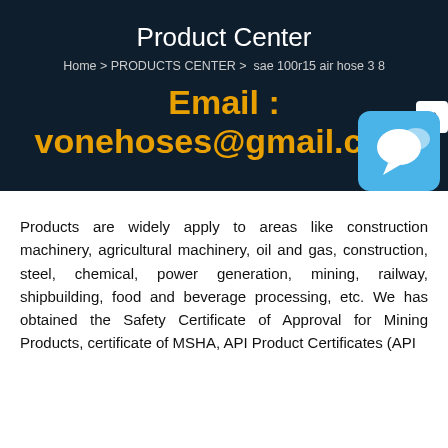Product Center
Home > PRODUCTS CENTER >  sae 100r15 air hose 3 8
Email : vonehoses@gmail.com
[Figure (illustration): Chat/messaging app icon — blue rounded square with white speech bubble icon and an X close button in the top-right corner]
Products are widely apply to areas like construction machinery, agricultural machinery, oil and gas, construction, steel, chemical, power generation, mining, railway, shipbuilding, food and beverage processing, etc. We has obtained the Safety Certificate of Approval for Mining Products, certificate of MSHA, API Product Certificates (API